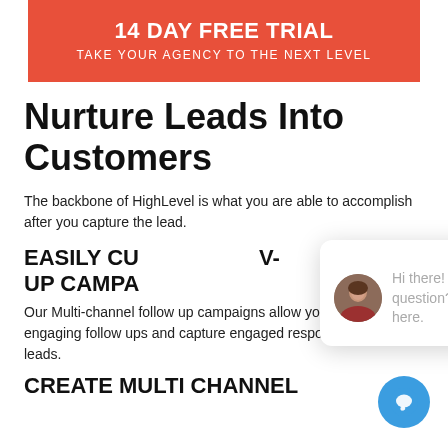[Figure (infographic): Red/orange banner with white text: '14 DAY FREE TRIAL' and 'TAKE YOUR AGENCY TO THE NEXT LEVEL']
Nurture Leads Into Customers
The backbone of HighLevel is what you are able to accomplish after you capture the lead.
EASILY CU... -UP CAMPA...
Our Multi-channel follow up campaigns allow you to automate engaging follow ups and capture engaged responses from your leads.
CREATE MULTI CHANNEL
[Figure (screenshot): Chat popup overlay with close button, avatar photo of a woman, and text: 'Hi there! Have a question? Text us here.' with a blue chat button in bottom right.]